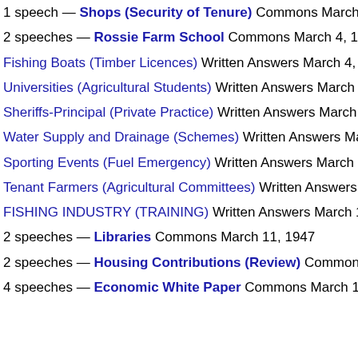1 speech — Shops (Security of Tenure) Commons March
2 speeches — Rossie Farm School Commons March 4, 1947
Fishing Boats (Timber Licences) Written Answers March 4, 194
Universities (Agricultural Students) Written Answers March 4,
Sheriffs-Principal (Private Practice) Written Answers March 4,
Water Supply and Drainage (Schemes) Written Answers March
Sporting Events (Fuel Emergency) Written Answers March 7, 1
Tenant Farmers (Agricultural Committees) Written Answers Ma
FISHING INDUSTRY (TRAINING) Written Answers March 10,
2 speeches — Libraries Commons March 11, 1947
2 speeches — Housing Contributions (Review) Commons M
4 speeches — Economic White Paper Commons March 11,